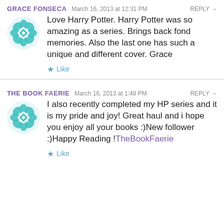GRACE FONSECA  March 16, 2013 at 12:31 PM  REPLY →
[Figure (logo): Teal/turquoise decorative geometric avatar icon for Grace Fonseca]
Love Harry Potter. Harry Potter was so amazing as a series. Brings back fond memories. Also the last one has such a unique and different cover. Grace
★ Like
THE BOOK FAERIE  March 16, 2013 at 1:48 PM  REPLY →
[Figure (logo): Teal/turquoise decorative geometric avatar icon for The Book Faerie]
I also recently completed my HP series and it is my pride and joy! Great haul and i hope you enjoy all your books :)New follower :)Happy Reading !TheBookFaerie
★ Like